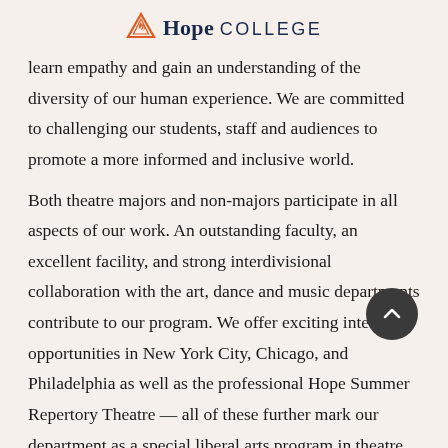Hope College
learn empathy and gain an understanding of the diversity of our human experience. We are committed to challenging our students, staff and audiences to promote a more informed and inclusive world.
Both theatre majors and non-majors participate in all aspects of our work. An outstanding faculty, an excellent facility, and strong interdivisional collaboration with the art, dance and music departments contribute to our program. We offer exciting internship opportunities in New York City, Chicago, and Philadelphia as well as the professional Hope Summer Repertory Theatre — all of these further mark our department as a special liberal arts program in theatre.